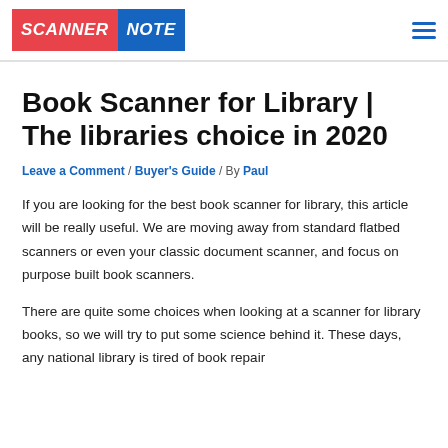SCANNER NOTE
Book Scanner for Library | The libraries choice in 2020
Leave a Comment / Buyer's Guide / By Paul
If you are looking for the best book scanner for library, this article will be really useful. We are moving away from standard flatbed scanners or even your classic document scanner, and focus on purpose built book scanners.
There are quite some choices when looking at a scanner for library books, so we will try to put some science behind it. These days, any national library is tired of book repair